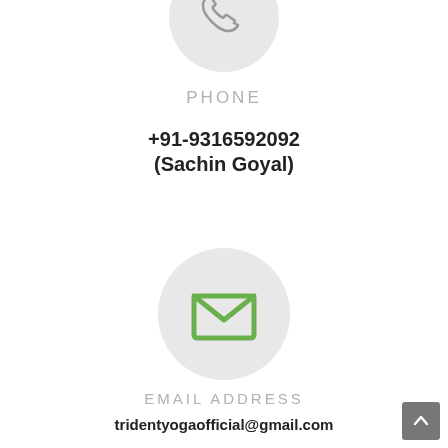[Figure (illustration): Gray circle with phone icon at top (partially cropped)]
PHONE
+91-9316592092
(Sachin Goyal)
[Figure (illustration): Gray circle with green envelope/email icon]
EMAIL ADDRESS
tridentyogaofficial@gmail.com